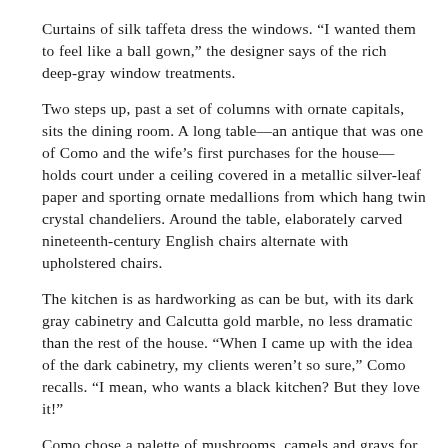Curtains of silk taffeta dress the windows. “I wanted them to feel like a ball gown,” the designer says of the rich deep-gray window treatments.
Two steps up, past a set of columns with ornate capitals, sits the dining room. A long table—an antique that was one of Como and the wife’s first purchases for the house—holds court under a ceiling covered in a metallic silver-leaf paper and sporting ornate medallions from which hang twin crystal chandeliers. Around the table, elaborately carved nineteenth-century English chairs alternate with upholstered chairs.
The kitchen is as hardworking as can be but, with its dark gray cabinetry and Calcutta gold marble, no less dramatic than the rest of the house. “When I came up with the idea of the dark cabinetry, my clients weren’t so sure,” Como recalls. “I mean, who wants a black kitchen? But they love it!”
Como chose a palette of mushrooms, camels and grays for most of the house, deviating only in the wife’s library, where furniture and accents in deep red set a rich tone against charcoal-gray paneling.